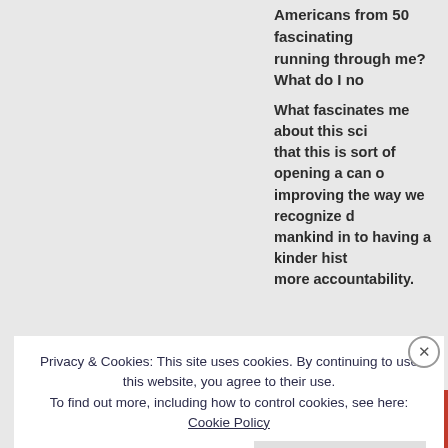Americans from 50 fascinating... running through me? What do I no
What fascinates me about this sci... that this is sort of opening a can o... improving the way we recognize d... mankind in to having a kinder hist... more accountability.
[Figure (infographic): Red promotional banner with white italic text reading 'The bes the web every' and a black button partially visible]
Privacy & Cookies: This site uses cookies. By continuing to use this website, you agree to their use. To find out more, including how to control cookies, see here: Cookie Policy
Close and accept